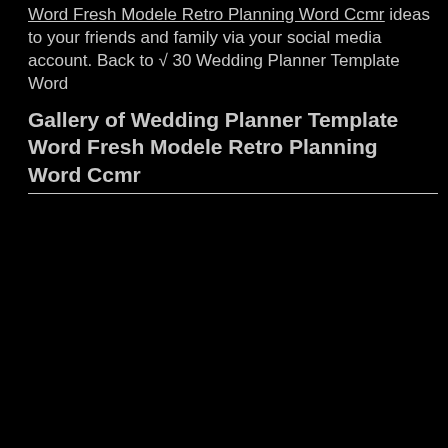Word Fresh Modele Retro Planning Word Ccmr ideas to your friends and family via your social media account. Back to √ 30 Wedding Planner Template Word
Gallery of Wedding Planner Template Word Fresh Modele Retro Planning Word Ccmr